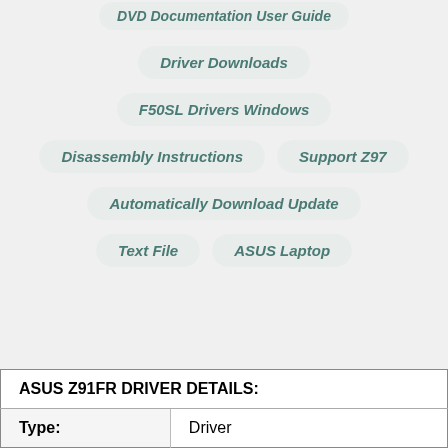DVD Documentation User Guide
Driver Downloads
F50SL Drivers Windows
Disassembly Instructions
Support Z97
Automatically Download Update
Text File
ASUS Laptop
|  |  |
| --- | --- |
| ASUS Z91FR DRIVER DETAILS: |  |
| Type: | Driver |